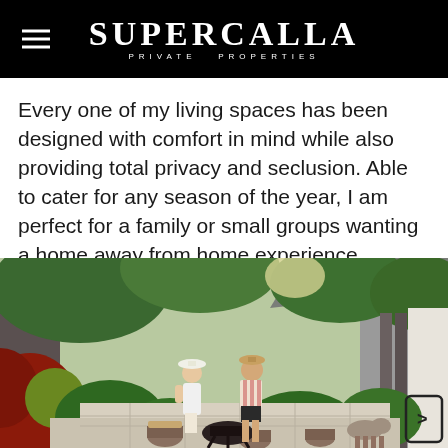SUPERCALLA PRIVATE PROPERTIES
Every one of my living spaces has been designed with comfort in mind while also providing total privacy and seclusion. Able to cater for any season of the year, I am perfect for a family or small groups wanting a home away from home experience.
[Figure (photo): A couple sitting outdoors in a lush tropical garden patio setting, around a fire pit with wooden stump seats, surrounded by tropical plants and greenery, with a fence and house in the background. The woman wears a white dress and hat; the man wears a striped shirt and hat.]